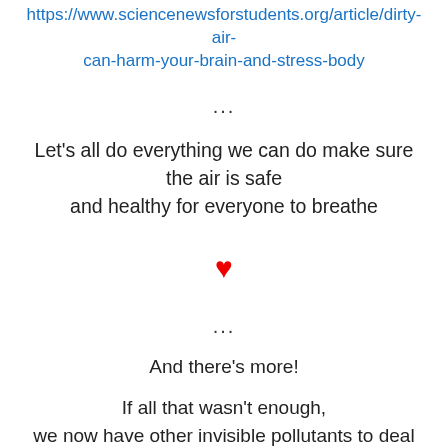https://www.sciencenewsforstudents.org/article/dirty-air-can-harm-your-brain-and-stress-body
...
Let's all do everything we can do make sure the air is safe and healthy for everyone to breathe
[Figure (illustration): Red heart symbol]
...
And there's more!
If all that wasn't enough, we now have other invisible pollutants to deal with!
Did you know that technology  emits wavelengths that affect us and others too?